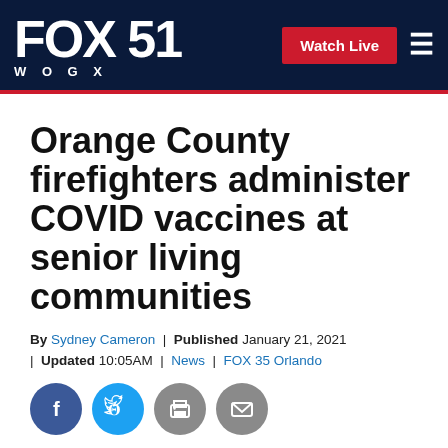FOX 51 WOGX | Watch Live
Orange County firefighters administer COVID vaccines at senior living communities
By Sydney Cameron | Published January 21, 2021 | Updated 10:05AM | News | FOX 35 Orlando
[Figure (other): Social sharing icons: Facebook, Twitter, Print, Email]